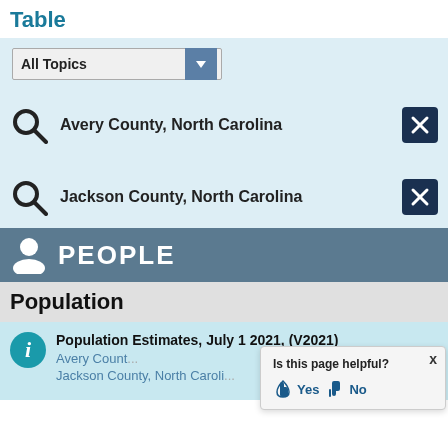Table
All Topics (dropdown)
Avery County, North Carolina
Jackson County, North Carolina
PEOPLE
Population
Population Estimates, July 1 2021, (V2021)
Avery County
Jackson County, North Carolina
Is this page helpful? Yes No